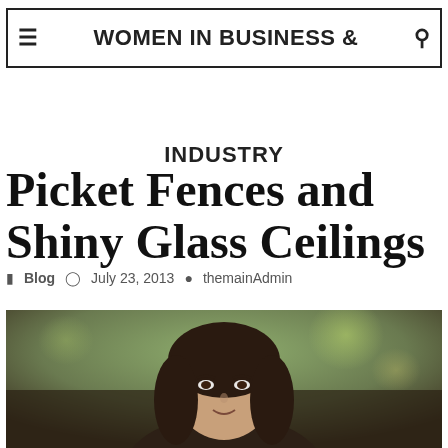WOMEN IN BUSINESS & INDUSTRY
Picket Fences and Shiny Glass Ceilings
Blog  July 23, 2013  themainAdmin
[Figure (photo): Portrait photograph of a woman with dark hair, blurred outdoor background with green bokeh]